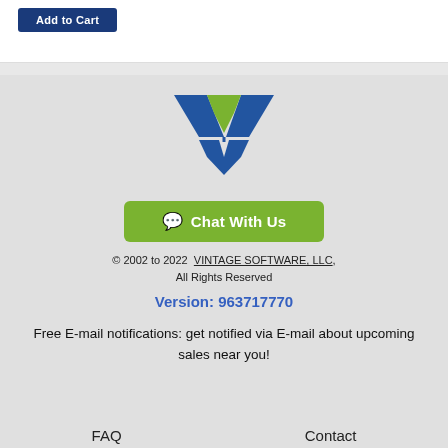[Figure (logo): Blue and green V-shaped logo for Vintage Software LLC]
Chat With Us
© 2002 to 2022  VINTAGE SOFTWARE, LLC,
All Rights Reserved
Version: 963717700
Free E-mail notifications: get notified via E-mail about upcoming sales near you!
FAQ    Contact